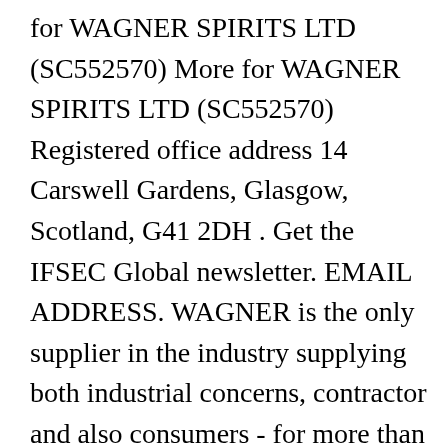for WAGNER SPIRITS LTD (SC552570) More for WAGNER SPIRITS LTD (SC552570) Registered office address 14 Carswell Gardens, Glasgow, Scotland, G41 2DH . Get the IFSEC Global newsletter. EMAIL ADDRESS. WAGNER is the only supplier in the industry supplying both industrial concerns, contractor and also consumers - for more than 50 years. Compare Products . Furno Series; Motocare Series; Craft Series; HT Series; Rollers. DIY painting tips. GRACO Paint Spray Gun TrueCoat 360 16Y391 . Wagner PP90 Standard. SENS ® air sampling smoke detector an even more cost-effective option. 484-238-2259. read more . Contact Us; Register Your Product; Document Center; Videos; FAQs; Cart. Also feel free to call our